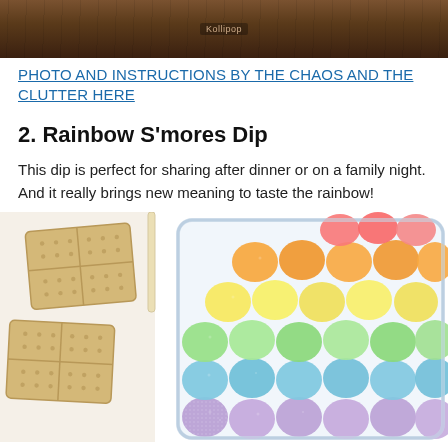[Figure (photo): Top portion of a photo showing a wooden surface/table background]
PHOTO AND INSTRUCTIONS BY THE CHAOS AND THE CLUTTER HERE
2. Rainbow S'mores Dip
This dip is perfect for sharing after dinner or on a family night. And it really brings new meaning to taste the rainbow!
[Figure (photo): Photo of Rainbow S'mores Dip: a glass baking dish filled with colorful sugar-coated marshmallows arranged in rainbow order (purple, blue, green, yellow, orange, red/pink), with graham crackers on the left side, on a white background.]